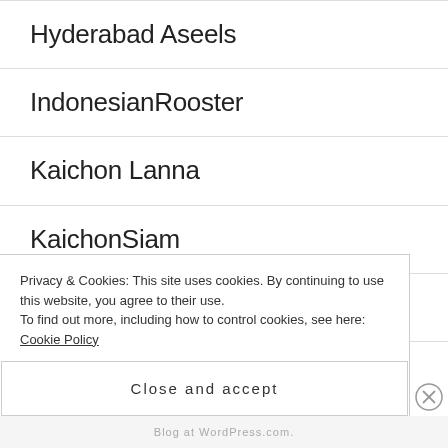Hyderabad Aseels
IndonesianRooster
Kaichon Lanna
KaichonSiam
Kampfhuehner EU
King Asil
Luikse Vechter
Privacy & Cookies: This site uses cookies. By continuing to use this website, you agree to their use.
To find out more, including how to control cookies, see here: Cookie Policy
Close and accept